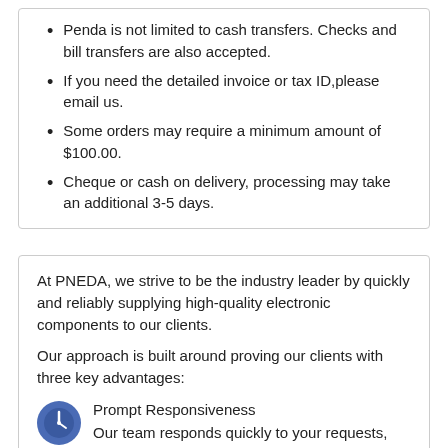Penda is not limited to cash transfers. Checks and bill transfers are also accepted.
If you need the detailed invoice or tax ID,please email us.
Some orders may require a minimum amount of $100.00.
Cheque or cash on delivery, processing may take an additional 3-5 days.
At PNEDA, we strive to be the industry leader by quickly and reliably supplying high-quality electronic components to our clients.
Our approach is built around proving our clients with three key advantages:
Prompt Responsiveness
Our team responds quickly to your requests, and gets to work immediately to find your parts.